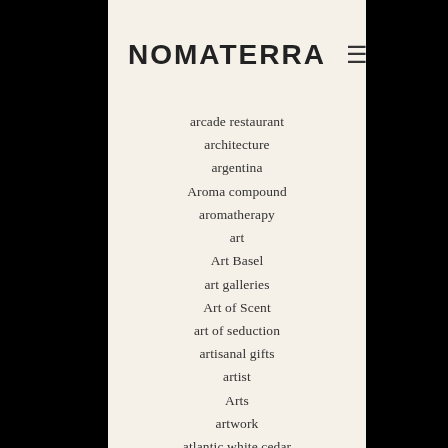NOMATERRA
arcade restaurant
architecture
argentina
Aroma compound
aromatherapy
art
Art Basel
art galleries
Art of Scent
art of seduction
artisanal gifts
artist
Arts
artwork
atlantic white cedar
autumn
autumn travel
awakening
bahamas
bar 1608
bariloche
Baseworld
beach
beads
beale street
beautiful